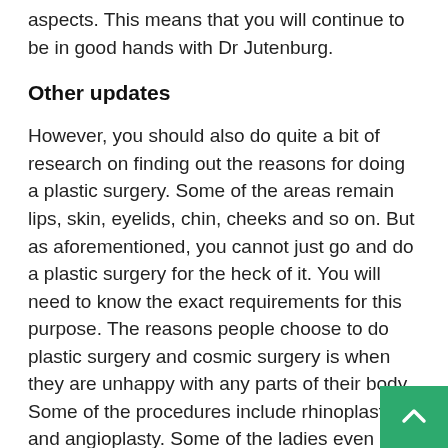aspects. This means that you will continue to be in good hands with Dr Jutenburg.
Other updates
However, you should also do quite a bit of research on finding out the reasons for doing a plastic surgery. Some of the areas remain lips, skin, eyelids, chin, cheeks and so on. But as aforementioned, you cannot just go and do a plastic surgery for the heck of it. You will need to know the exact requirements for this purpose. The reasons people choose to do plastic surgery and cosmic surgery is when they are unhappy with any parts of their body. Some of the procedures include rhinoplasty and angioplasty. Some of the ladies even opt for breast enhancement and reduction of the same. These part of esthetic surgeries and they can be done by